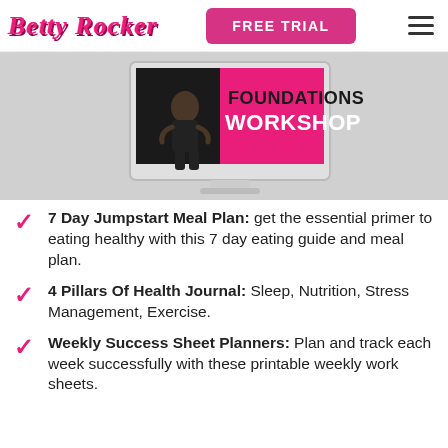Betty Rocker | FREE TRIAL
[Figure (illustration): Betty Rocker Foundations Workshop promotional image showing a fitness model on a computer monitor screen with 'FOUNDATIONS WORKSHOP' text on a pink background.]
7 Day Jumpstart Meal Plan: get the essential primer to eating healthy with this 7 day eating guide and meal plan.
4 Pillars Of Health Journal: Sleep, Nutrition, Stress Management, Exercise.
Weekly Success Sheet Planners: Plan and track each week successfully with these printable weekly work sheets.